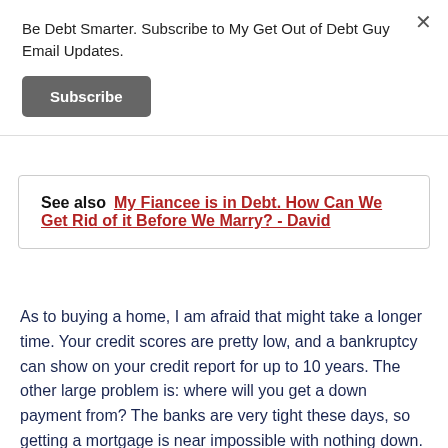Be Debt Smarter. Subscribe to My Get Out of Debt Guy Email Updates.
Subscribe
See also  My Fiancee is in Debt. How Can We Get Rid of it Before We Marry? - David
As to buying a home, I am afraid that might take a longer time. Your credit scores are pretty low, and a bankruptcy can show on your credit report for up to 10 years. The other large problem is: where will you get a down payment from? The banks are very tight these days, so getting a mortgage is near impossible with nothing down.